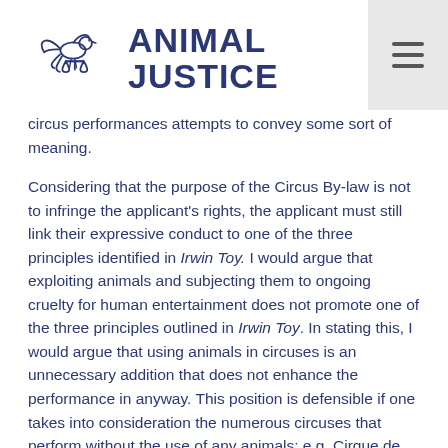ANIMAL JUSTICE
circus performances attempts to convey some sort of meaning.
Considering that the purpose of the Circus By-law is not to infringe the applicant's rights, the applicant must still link their expressive conduct to one of the three principles identified in Irwin Toy. I would argue that exploiting animals and subjecting them to ongoing cruelty for human entertainment does not promote one of the three principles outlined in Irwin Toy. In stating this, I would argue that using animals in circuses is an unnecessary addition that does not enhance the performance in anyway. This position is defensible if one takes into consideration the numerous circuses that perform without the use of any animals: e.g. Cirque de Soleil, Cirque Plume, Earth Circus, Circus Oz, Fern Street Circus, Mexican National Circus, and Swamp Circus, to name but a few. Furthermore, the